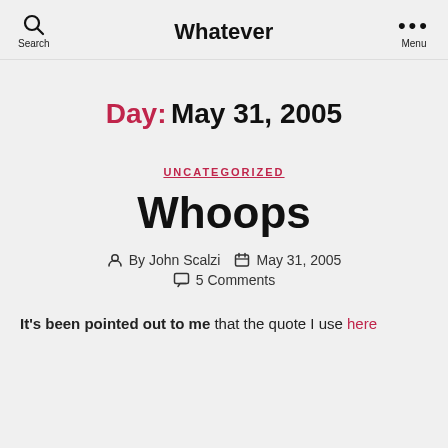Whatever
Day: May 31, 2005
UNCATEGORIZED
Whoops
By John Scalzi   May 31, 2005   5 Comments
It's been pointed out to me that the quote I use here